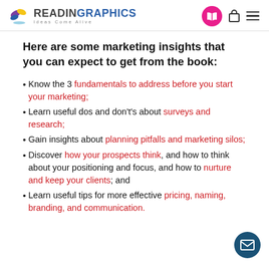READINGRAPHICS — Ideas Come Alive
Here are some marketing insights that you can expect to get from the book:
Know the 3 fundamentals to address before you start your marketing;
Learn useful dos and don'ts about surveys and research;
Gain insights about planning pitfalls and marketing silos;
Discover how your prospects think, and how to think about your positioning and focus, and how to nurture and keep your clients; and
Learn useful tips for more effective pricing, naming, branding, and communication.